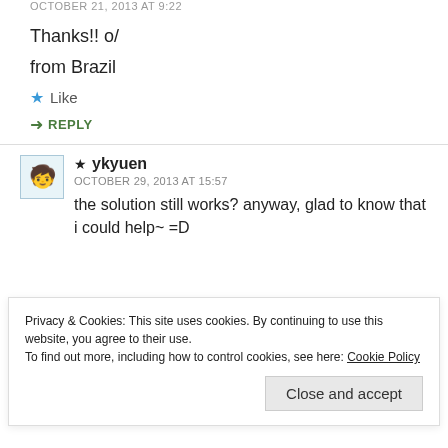OCTOBER 21, 2013 AT 9:22
Thanks!! o/
from Brazil
★ Like
➜ REPLY
★ ykyuen
OCTOBER 29, 2013 AT 15:57
the solution still works? anyway, glad to know that i could help~ =D
Privacy & Cookies: This site uses cookies. By continuing to use this website, you agree to their use. To find out more, including how to control cookies, see here: Cookie Policy